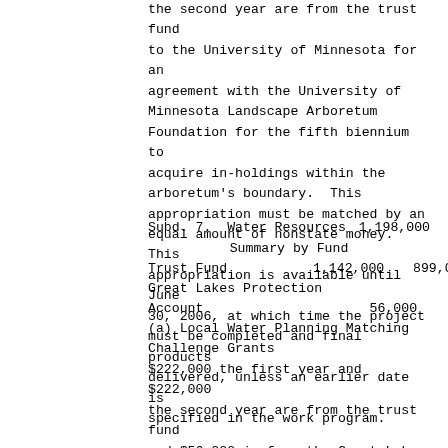the second year are from the trust fund to the University of Minnesota for an agreement with the University of Minnesota Landscape Arboretum Foundation for the fifth biennium to acquire in-holdings within the arboretum's boundary.  This appropriation must be matched by an equal amount of nonstate money.  This appropriation is available until June 30, 2006, at which time the project must be completed and final products delivered, unless an earlier date is specified in the work program.
Subd. 7.  Water Resources    1,198,000
Summary by Fund
Trust Fund    1,142,000    899,000
Great Lakes Protection Account    56,000
(a) Local Water Planning Matching Challenge Grants
$222,000 the first year and $222,000 the second year are from the trust fund and $56,000 is from the Great Lakes protection account to the board of